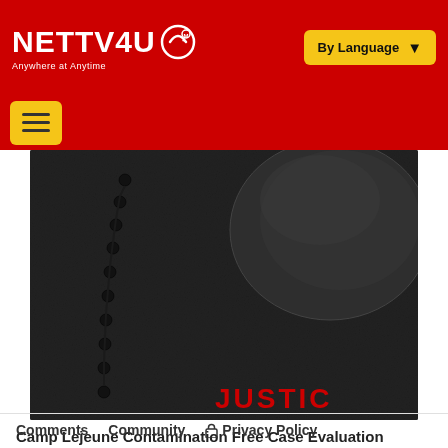NETTV4U Anywhere at Anytime | By Language
[Figure (screenshot): Dark leather textured background with a black rosary bead chain on the left and a dark rounded object on the right, with partial red text 'JUSTIC' in the lower right corner]
Camp Lejeune Contamination Free Case Evaluation
Trulaw
Learn More
Comments   Community   Privacy Policy